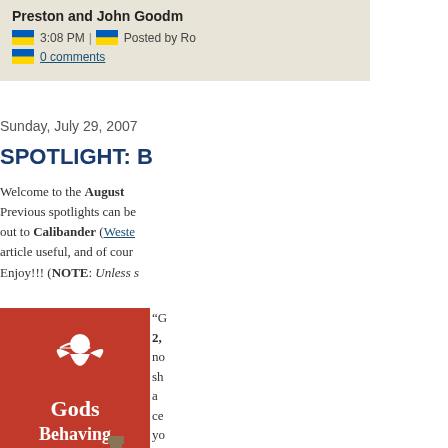Preston and John Goodm...
3:08 PM | Posted by Ro...
0 comments
Sunday, July 29, 2007
SPOTLIGHT: B...
Welcome to the August... Previous spotlights can be... out to Calibander (Wester... article useful, and of cour... Enjoy!!! (NOTE: Unless s...
[Figure (photo): Book cover for 'Gods Behaving Badly' by Marie Phillips, red cover with silhouette of an angel/cupid figure with bow and arrow, London skyline silhouette at bottom]
“G... 2,... no... sh... a ... ce... yo... tel... Of... Of... On... W...